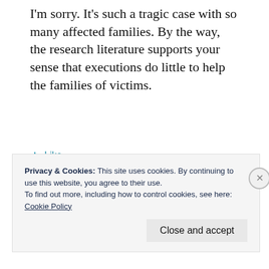I'm sorry. It's such a tragic case with so many affected families. By the way, the research literature supports your sense that executions do little to help the families of victims.
★ Like
Reply
Privacy & Cookies: This site uses cookies. By continuing to use this website, you agree to their use.
To find out more, including how to control cookies, see here:
Cookie Policy
Close and accept